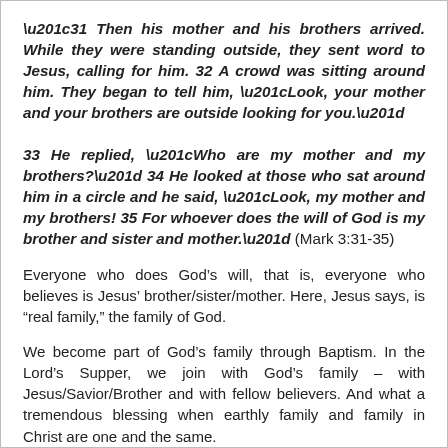“31 Then his mother and his brothers arrived. While they were standing outside, they sent word to Jesus, calling for him. 32 A crowd was sitting around him. They began to tell him, “Look, your mother and your brothers are outside looking for you.”
33 He replied, “Who are my mother and my brothers?” 34 He looked at those who sat around him in a circle and he said, “Look, my mother and my brothers! 35 For whoever does the will of God is my brother and sister and mother.” (Mark 3:31-35)
Everyone who does God’s will, that is, everyone who believes is Jesus’ brother/sister/mother. Here, Jesus says, is “real family,” the family of God.
We become part of God’s family through Baptism. In the Lord’s Supper, we join with God’s family – with Jesus/Savior/Brother and with fellow believers. And what a tremendous blessing when earthly family and family in Christ are one and the same.